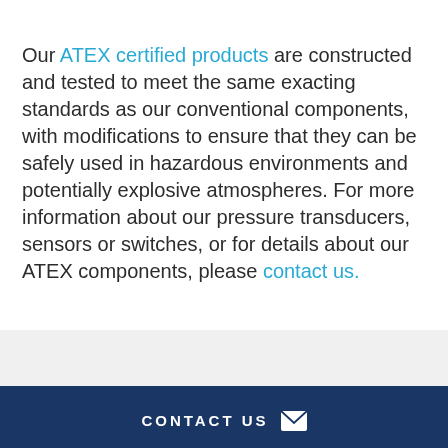Our ATEX certified products are constructed and tested to meet the same exacting standards as our conventional components, with modifications to ensure that they can be safely used in hazardous environments and potentially explosive atmospheres. For more information about our pressure transducers, sensors or switches, or for details about our ATEX components, please contact us.
CONTACT US